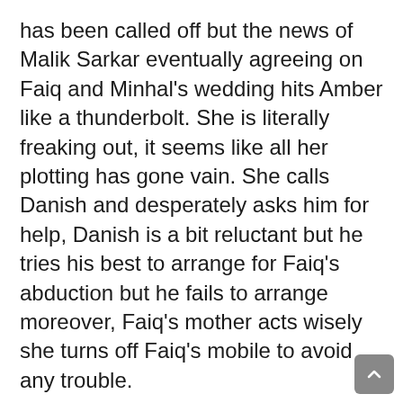has been called off but the news of Malik Sarkar eventually agreeing on Faiq and Minhal's wedding hits Amber like a thunderbolt. She is literally freaking out, it seems like all her plotting has gone vain. She calls Danish and desperately asks him for help, Danish is a bit reluctant but he tries his best to arrange for Faiq's abduction but he fails to arrange moreover, Faiq's mother acts wisely she turns off Faiq's mobile to avoid any trouble.
https://www.instagram.com/p/B8PNGfDFjKv/?utm_source=ig_web_copy_link
Amber is so vile that she is not giving up that easily, she tries her best to call Faiq but his phone is turned off. It seems like Faiq and Minhal's